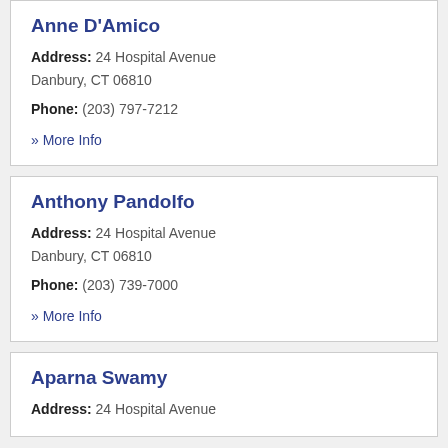Anne D'Amico
Address: 24 Hospital Avenue
Danbury, CT 06810
Phone: (203) 797-7212
» More Info
Anthony Pandolfo
Address: 24 Hospital Avenue
Danbury, CT 06810
Phone: (203) 739-7000
» More Info
Aparna Swamy
Address: 24 Hospital Avenue